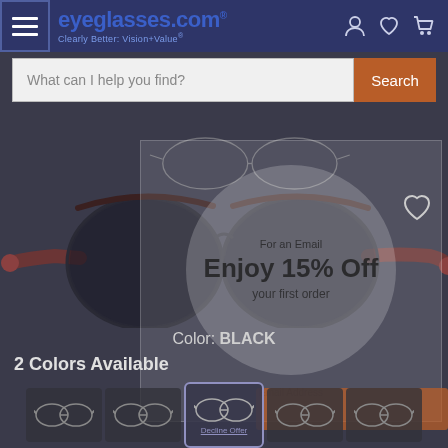[Figure (screenshot): eyeglasses.com website screenshot showing product page with header, search bar, popup overlay with 15% off promotion, glasses product image, color label showing BLACK, 2 Colors Available section, and color swatches row at bottom]
eyeglasses.com - Clearly Better: Vision+Value
What can I help you find?
Enjoy 15% Off your first order
Email Address
Color: BLACK
2 Colors Available
Decline Offer